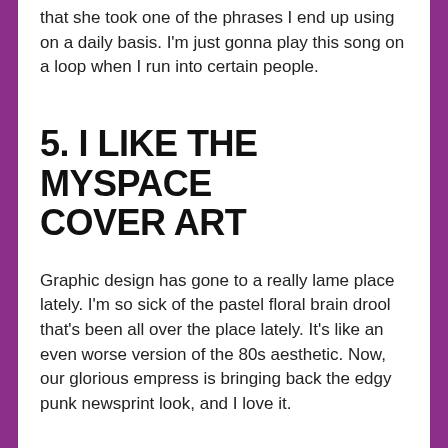that she took one of the phrases I end up using on a daily basis. I'm just gonna play this song on a loop when I run into certain people.
5. I LIKE THE MYSPACE COVER ART
Graphic design has gone to a really lame place lately. I'm so sick of the pastel floral brain drool that's been all over the place lately. It's like an even worse version of the 80s aesthetic. Now, our glorious empress is bringing back the edgy punk newsprint look, and I love it.
6. I WATCHED HER ON SNL (AND PROCEEDED TO FAST FORWARD THROUGH